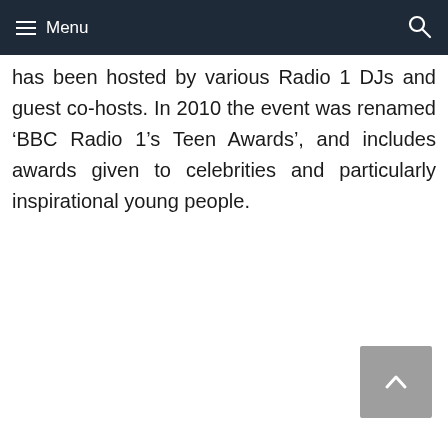Menu
has been hosted by various Radio 1 DJs and guest co-hosts. In 2010 the event was renamed ‘BBC Radio 1’s Teen Awards’, and includes awards given to celebrities and particularly inspirational young people.